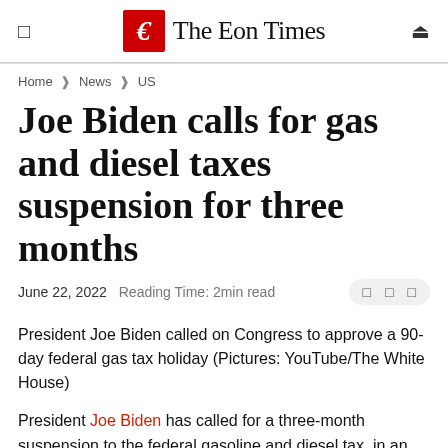The Eon Times
Home › News › US
Joe Biden calls for gas and diesel taxes suspension for three months
June 22, 2022   Reading Time: 2min read
President Joe Biden called on Congress to approve a 90-day federal gas tax holiday (Pictures: YouTube/The White House)
President Joe Biden has called for a three-month suspension to the federal gasoline and diesel tax, in an